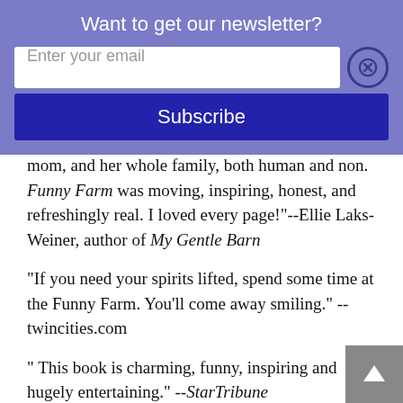Want to get our newsletter?
Enter your email
Subscribe
mom, and her whole family, both human and non. Funny Farm was moving, inspiring, honest, and refreshingly real. I loved every page!"--Ellie Laks-Weiner, author of My Gentle Barn
"If you need your spirits lifted, spend some time at the Funny Farm. You’ll come away smiling." --twincities.com
" This book is charming, funny, inspiring and hugely entertaining." --StarTribune
"Some honor their loved ones by planting a tree. Laurie Zaleski went a lot further: She founded an entire animal sanctuary, just as she'd once promised her mother." --New York Post